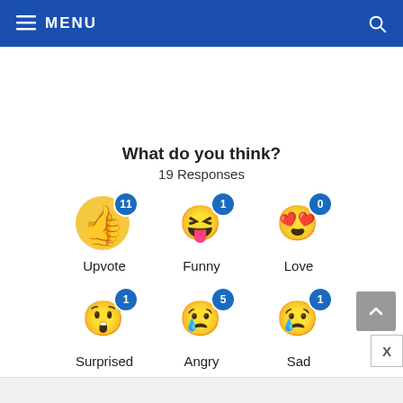≡ MENU
What do you think?
19 Responses
[Figure (infographic): Emoji reaction widget showing six reaction types with counts: Upvote (thumbs up emoji, count 11), Funny (laughing emoji, count 1), Love (heart eyes emoji, count 0), Surprised (surprised face emoji, count 1), Angry (crying/angry emoji, count 5), Sad (sad face emoji, count 1)]